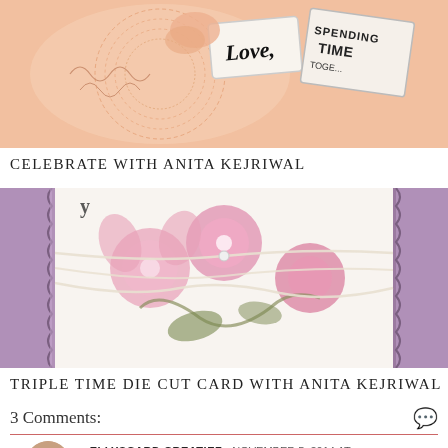[Figure (photo): Close-up photo of a handmade card with lace doily texture in peach/salmon color, featuring stamped tags reading 'Love' and 'Spending Time Together']
CELEBRATE WITH ANITA KEJRIWAL
[Figure (photo): Photo of a handmade floral card with pink flowers on white background, purple scalloped lace borders on sides, and white twine/ribbon wrapped around it]
TRIPLE TIME DIE CUT CARD WITH ANITA KEJRIWAL
3 Comments:
ELLYSCARD CREATIEF  NOVEMBER 5, 2014 AT 3:13 AM
Very beautiful card.
Gr Elly
Very beautiful card.